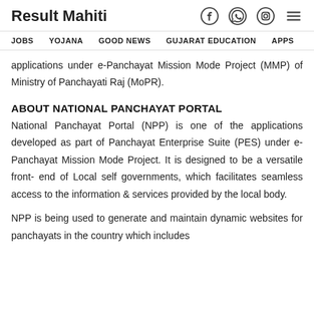Result Mahiti
JOBS   YOJANA   GOOD NEWS   GUJARAT EDUCATION   APPS
applications under e-Panchayat Mission Mode Project (MMP) of Ministry of Panchayati Raj (MoPR).
ABOUT NATIONAL PANCHAYAT PORTAL
National Panchayat Portal (NPP) is one of the applications developed as part of Panchayat Enterprise Suite (PES) under e- Panchayat Mission Mode Project. It is designed to be a versatile front- end of Local self governments, which facilitates seamless access to the information & services provided by the local body.
NPP is being used to generate and maintain dynamic websites for panchayats in the country which includes